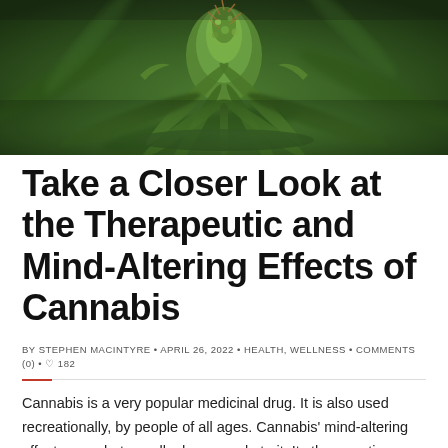[Figure (photo): Close-up photograph of a cannabis plant with green leaves and a flowering bud, dark green background with bokeh effect.]
Take a Closer Look at the Therapeutic and Mind-Altering Effects of Cannabis
BY STEPHEN MACINTYRE • APRIL 26, 2022 • HEALTH, WELLNESS • COMMENTS (0) • ♡ 182
Cannabis is a very popular medicinal drug. It is also used recreationally, by people of all ages. Cannabis' mind-altering effects are what usually draw people to it. Its therapeutic effects are often why people continue using it, after starting. The drug has now been legalised in Canada and the United States. It's highly likely that it will become legalised in other Western nations